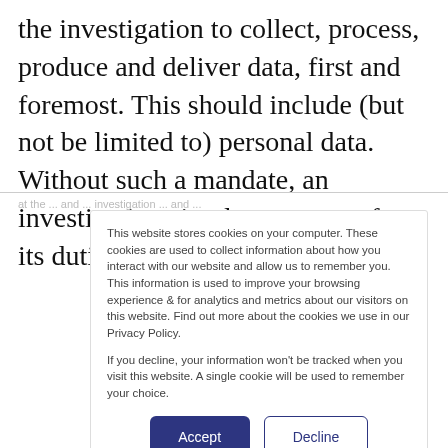the investigation to collect, process, produce and deliver data, first and foremost. This should include (but not be limited to) personal data. Without such a mandate, an investigation simply cannot perform its duties.
This website stores cookies on your computer. These cookies are used to collect information about how you interact with our website and allow us to remember you. This information is used to improve your browsing experience & for analytics and metrics about our visitors on this website. Find out more about the cookies we use in our Privacy Policy.
If you decline, your information won't be tracked when you visit this website. A single cookie will be used to remember your choice.